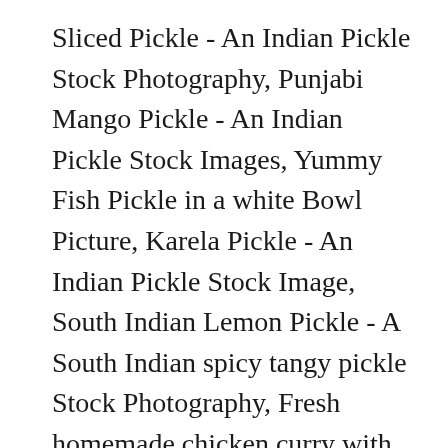Sliced Pickle - An Indian Pickle Stock Photography, Punjabi Mango Pickle - An Indian Pickle Stock Images, Yummy Fish Pickle in a white Bowl Picture, Karela Pickle - An Indian Pickle Stock Image, South Indian Lemon Pickle - A South Indian spicy tangy pickle Stock Photography, Fresh homemade chicken curry with chilly in vintage ceramic bowl. Download Achar images and photos. Healthy lifestyles. Symptoms and signs of coccydynia include focal pain and tenderness at the tailbone. Spot was a UKC Grand Nite Champion that John Monroe bought from Howard Claxton. Health care and medical nutrition supplement. ACHA is a community led organisation directed by a voluntary Board of Management supported by